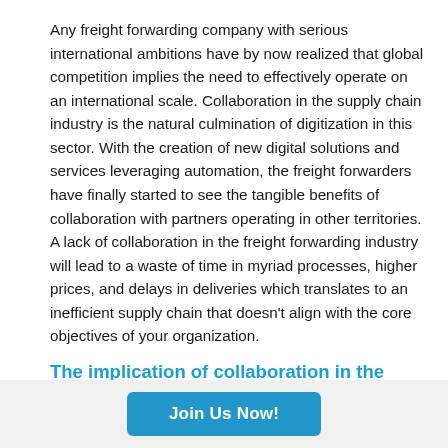Any freight forwarding company with serious international ambitions have by now realized that global competition implies the need to effectively operate on an international scale. Collaboration in the supply chain industry is the natural culmination of digitization in this sector. With the creation of new digital solutions and services leveraging automation, the freight forwarders have finally started to see the tangible benefits of collaboration with partners operating in other territories. A lack of collaboration in the freight forwarding industry will lead to a waste of time in myriad processes, higher prices, and delays in deliveries which translates to an inefficient supply chain that doesn't align with the core objectives of your organization.
The implication of collaboration in the transportation/logistics industry
Join Us Now!